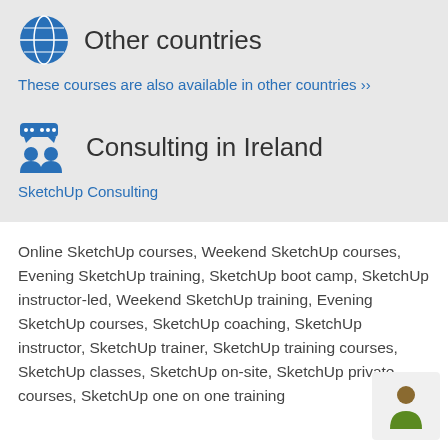Other countries
These courses are also available in other countries »
Consulting in Ireland
SketchUp Consulting
Online SketchUp courses, Weekend SketchUp courses, Evening SketchUp training, SketchUp boot camp, SketchUp instructor-led, Weekend SketchUp training, Evening SketchUp courses, SketchUp coaching, SketchUp instructor, SketchUp trainer, SketchUp training courses, SketchUp classes, SketchUp on-site, SketchUp private courses, SketchUp one on one training